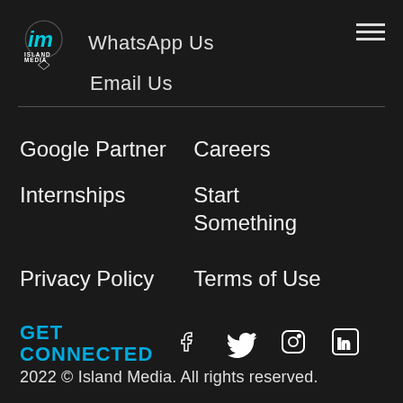[Figure (logo): Island Media logo with stylized IM letters and ISLAND MEDIA text]
WhatsApp Us
Email Us
Google Partner
Careers
Internships
Start Something
Privacy Policy
Terms of Use
GET CONNECTED
[Figure (infographic): Social media icons: Facebook, Twitter, Instagram, LinkedIn]
2022 © Island Media. All rights reserved.